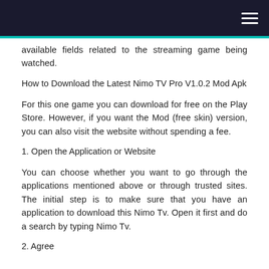It is very suitable for free time, especially when the holiday
[navigation bar with hamburger menu]
available fields related to the streaming game being watched.
How to Download the Latest Nimo TV Pro V1.0.2 Mod Apk
For this one game you can download for free on the Play Store. However, if you want the Mod (free skin) version, you can also visit the website without spending a fee.
1. Open the Application or Website
You can choose whether you want to go through the applications mentioned above or through trusted sites. The initial step is to make sure that you have an application to download this Nimo Tv. Open it first and do a search by typing Nimo Tv.
2. Agree